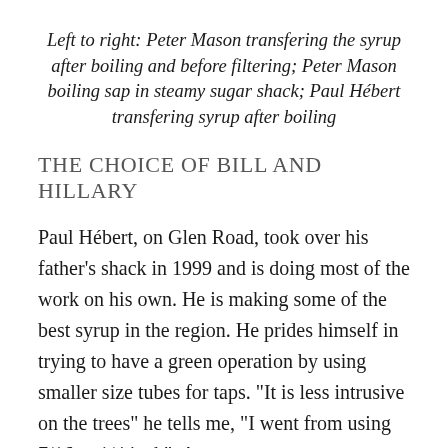Left to right: Peter Mason transfering the syrup after boiling and before filtering; Peter Mason boiling sap in steamy sugar shack; Paul Hébert transfering syrup after boiling
THE CHOICE OF BILL AND HILLARY
Paul Hébert, on Glen Road, took over his father's shack in 1999 and is doing most of the work on his own. He is making some of the best syrup in the region. He prides himself in trying to have a green operation by using smaller size tubes for taps. “It is less intrusive on the trees” he tells me, “I went from using 7/16 to 1/4 inch”. Among his clients are some very notable like Bill and